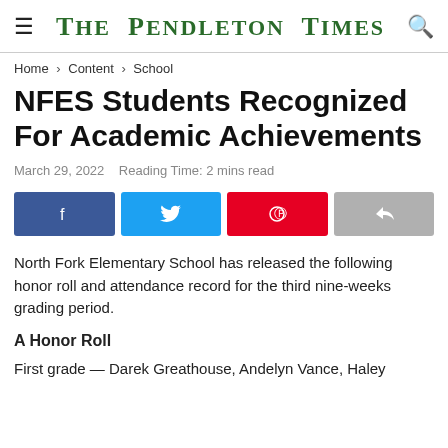The Pendleton Times
Home > Content > School
NFES Students Recognized For Academic Achievements
March 29, 2022   Reading Time: 2 mins read
[Figure (other): Social sharing buttons: Facebook, Twitter, Pinterest, Share]
North Fork Elementary School has released the following honor roll and attendance record for the third nine-weeks grading period.
A Honor Roll
First grade — Darek Greathouse, Andelyn Vance, Haley